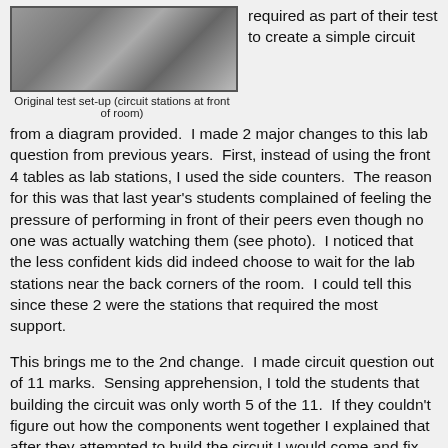[Figure (photo): Photo of original test set-up showing circuit stations at front of room with tables and equipment]
Original test set-up (circuit stations at front of room)
required as part of their test to create a simple circuit from a diagram provided.  I made 2 major changes to this lab question from previous years.  First, instead of using the front 4 tables as lab stations, I used the side counters.  The reason for this was that last year's students complained of feeling the pressure of performing in front of their peers even though no one was actually watching them (see photo).  I noticed that the less confident kids did indeed choose to wait for the lab stations near the back corners of the room.  I could tell this since these 2 were the stations that required the most support.
This brings me to the 2nd change.  I made circuit question out of 11 marks.  Sensing apprehension, I told the students that building the circuit was only worth 5 of the 11.  If they couldn't figure out how the components went together I explained that after they attempted to build the circuit I would come and fix anything that they did wrong, obviously subtracting 1 point per error.  So,  in worst case scenario,